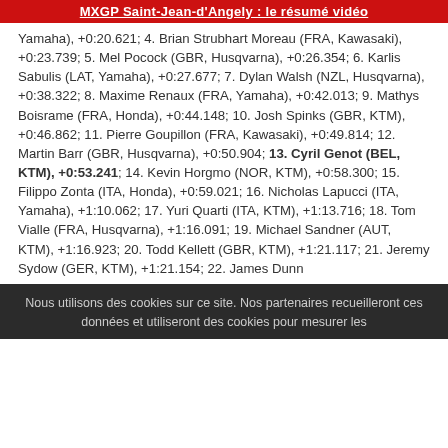MXGP Saint-Jean-d'Angely : le résumé vidéo
Yamaha), +0:20.621; 4. Brian Strubhart Moreau (FRA, Kawasaki), +0:23.739; 5. Mel Pocock (GBR, Husqvarna), +0:26.354; 6. Karlis Sabulis (LAT, Yamaha), +0:27.677; 7. Dylan Walsh (NZL, Husqvarna), +0:38.322; 8. Maxime Renaux (FRA, Yamaha), +0:42.013; 9. Mathys Boisrame (FRA, Honda), +0:44.148; 10. Josh Spinks (GBR, KTM), +0:46.862; 11. Pierre Goupillon (FRA, Kawasaki), +0:49.814; 12. Martin Barr (GBR, Husqvarna), +0:50.904; 13. Cyril Genot (BEL, KTM), +0:53.241; 14. Kevin Horgmo (NOR, KTM), +0:58.300; 15. Filippo Zonta (ITA, Honda), +0:59.021; 16. Nicholas Lapucci (ITA, Yamaha), +1:10.062; 17. Yuri Quarti (ITA, KTM), +1:13.716; 18. Tom Vialle (FRA, Husqvarna), +1:16.091; 19. Michael Sandner (AUT, KTM), +1:16.923; 20. Todd Kellett (GBR, KTM), +1:21.117; 21. Jeremy Sydow (GER, KTM), +1:21.154; 22. James Dunn
Nous utilisons des cookies sur ce site. Nos partenaires recueilleront ces données et utiliseront des cookies pour mesurer les